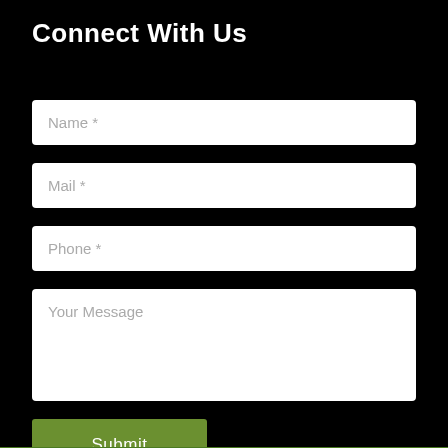Connect With Us
Name *
Mail *
Phone *
Your Message
Submit